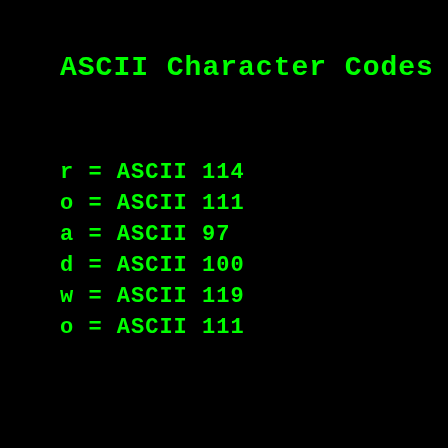ASCII Character Codes
r = ASCII 114
o = ASCII 111
a = ASCII 97
d = ASCII 100
w = ASCII 119
o = ASCII 111